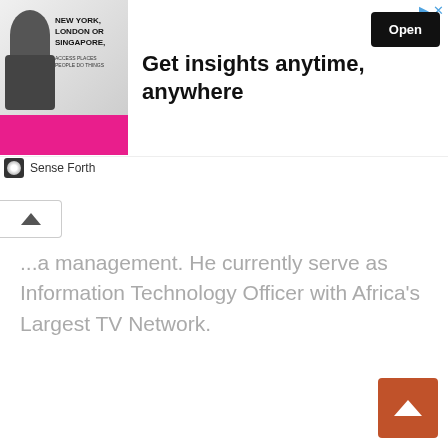[Figure (other): Advertisement banner: image of a man in a suit on the left, text 'Get insights anytime, anywhere' in the center, black 'Open' button on the right. Icons at top right. 'Sense Forth' branding below.]
...a management. He currently serve as Information Technology Officer with Africa's Largest TV Network.